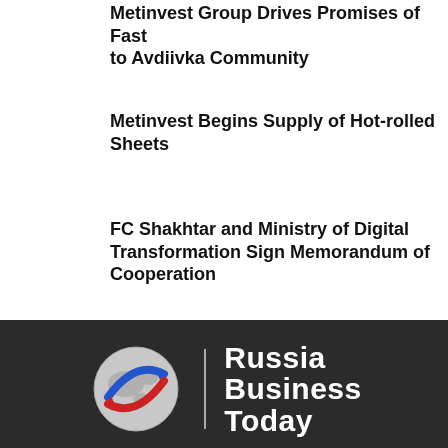Metinvest Group Drives Promises of Fast to Avdiivka Community
Metinvest Begins Supply of Hot-rolled Sheets
FC Shakhtar and Ministry of Digital Transformation Sign Memorandum of Cooperation
[Figure (logo): Russia Business Today logo — globe icon with blue and red arrows, vertical divider line, and bold white text 'Russia Business Today']